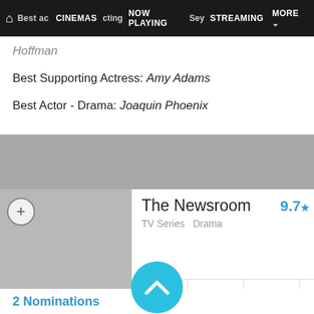🏠 CINEMAS NOW PLAYING STREAMING MORE
Best Supporting Actress: Amy Adams
Best Actor - Drama: Joaquin Phoenix
The Newsroom  9.7★
TV Series   Drama
INFO   TRAILER   REVIEWS   4
2 Nominations
Best Television Series - Drama